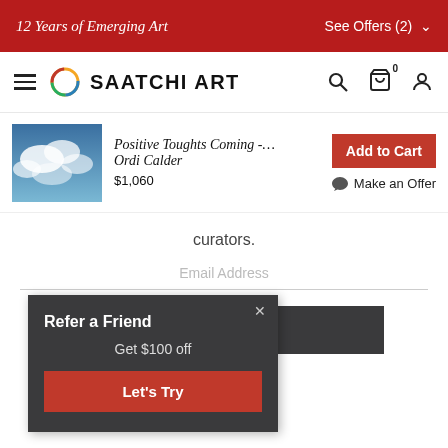12 Years of Emerging Art   See Offers (2) ∨
[Figure (screenshot): Saatchi Art website navigation bar with hamburger menu, circular logo, SAATCHI ART text, search icon, cart with 0, and user icon]
[Figure (photo): Product image showing clouds against blue sky]
Positive Toughts Coming -… Ordi Calder $1,060
Add to Cart
Make an Offer
curators.
Email Address
SIGN UP
Refer a Friend
Get $100 off
Let's Try